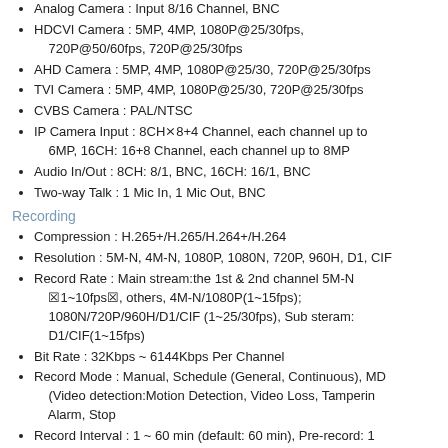Analog Camera : Input 8/16 Channel, BNC
HDCVI Camera : 5MP, 4MP, 1080P@25/30fps, 720P@50/60fps, 720P@25/30fps
AHD Camera : 5MP, 4MP, 1080P@25/30, 720P@25/30fps
TVI Camera : 5MP, 4MP, 1080P@25/30, 720P@25/30fps
CVBS Camera : PAL/NTSC
IP Camera Input : 8CH×8+4 Channel, each channel up to 6MP, 16CH: 16+8 Channel, each channel up to 8MP
Audio In/Out : 8CH: 8/1, BNC, 16CH: 16/1, BNC
Two-way Talk : 1 Mic In, 1 Mic Out, BNC
Recording
Compression : H.265+/H.265/H.264+/H.264
Resolution : 5M-N, 4M-N, 1080P, 1080N, 720P, 960H, D1, CIF
Record Rate : Main stream:the 1st & 2nd channel 5M-N ×1~10fps×, others, 4M-N/1080P(1~15fps); 1080N/720P/960H/D1/CIF (1~25/30fps), Sub steram: D1/CIF(1~15fps)
Bit Rate : 32Kbps ~ 6144Kbps Per Channel
Record Mode : Manual, Schedule (General, Continuous), MD (Video detection:Motion Detection, Video Loss, Tampering), Alarm, Stop
Record Interval : 1 ~ 60 min (default: 60 min), Pre-record: 1 ~ 30 sec, Postrecord: 10 ~ 300 sec